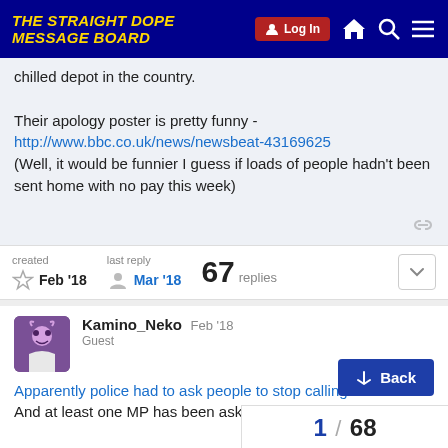THE STRAIGHT DOPE MESSAGE BOARD | Log In
chilled depot in the country.
Their apology poster is pretty funny - http://www.bbc.co.uk/news/newsbeat-43169625 (Well, it would be funnier I guess if loads of people hadn't been sent home with no pay this week)
created Feb '18  last reply Mar '18  67 replies
Kamino_Neko  Guest  Feb '18
Apparently police had to ask people to stop call... er it. And at least one MP has been asked to do something...
Back
1 / 68